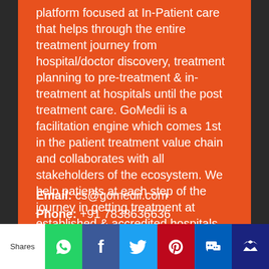platform focused at In-Patient care that helps through the entire treatment journey from hospital/doctor discovery, treatment planning to pre-treatment & in-treatment at hospitals until the post treatment care. GoMedii is a facilitation engine which comes 1st in the patient treatment value chain and collaborates with all stakeholders of the ecosystem. We help patients at each step of the journey in getting treatment at established & accredited hospitals.
Email: cs@gomedii.com
Phone: +91 7838636636
[Figure (infographic): Social sharing bar with Shares label, WhatsApp, Facebook, Twitter, Pinterest, SMS, and envelope icons]